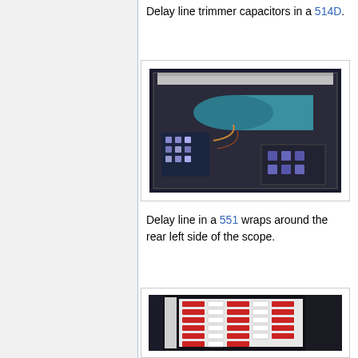Delay line trimmer capacitors in a 514D.
[Figure (photo): Interior view of a 514D oscilloscope showing delay line trimmer capacitors and internal components with a teal/blue cylindrical component visible]
Delay line in a 551 wraps around the rear left side of the scope.
[Figure (photo): Interior view of a 551 oscilloscope showing the delay line wrapped around the rear left side, with visible red and white components arranged vertically]